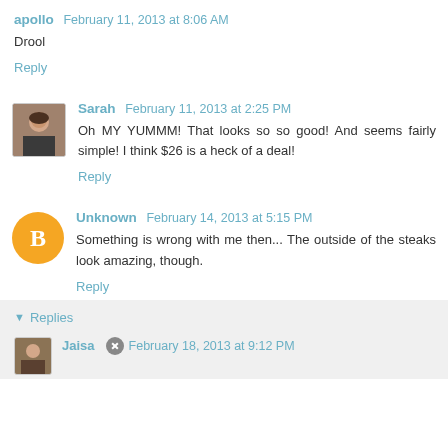apollo  February 11, 2013 at 8:06 AM
Drool
Reply
Sarah  February 11, 2013 at 2:25 PM
Oh MY YUMMM! That looks so so good! And seems fairly simple! I think $26 is a heck of a deal!
Reply
Unknown  February 14, 2013 at 5:15 PM
Something is wrong with me then... The outside of the steaks look amazing, though.
Reply
Replies
Jaisa  February 18, 2013 at 9:12 PM